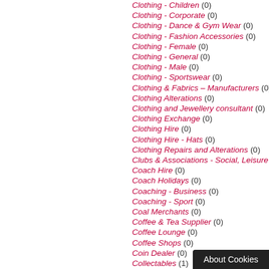Clothing - Children (0)
Clothing - Corporate (0)
Clothing - Dance & Gym Wear (0)
Clothing - Fashion Accessories (0)
Clothing - Female (0)
Clothing - General (0)
Clothing - Male (0)
Clothing - Sportswear (0)
Clothing & Fabrics – Manufacturers (0)
Clothing Alterations (0)
Clothing and Jewellery consultant (0)
Clothing Exchange (0)
Clothing Hire (0)
Clothing Hire - Hats (0)
Clothing Repairs and Alterations (0)
Clubs & Associations - Social, Leisure &
Coach Hire (0)
Coach Holidays (0)
Coaching - Business (0)
Coaching - Sport (0)
Coal Merchants (0)
Coffee & Tea Supplier (0)
Coffee Lounge (0)
Coffee Shops (0)
Coin Dealer (0)
Collectables (1)
Colonic Hydrotherapy (0)
Comedy Club (0)
Commercial Brokers (0)
Commercial Energy A...